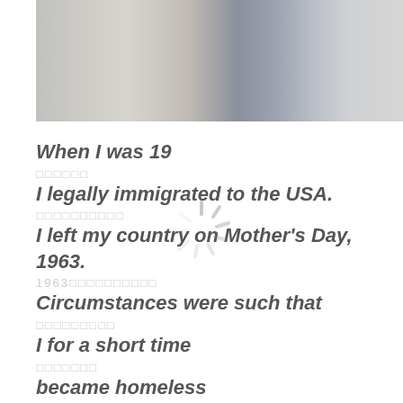[Figure (photo): Stack of books photo, partially visible at top of page, appears to be a library or study scene]
When I was 19
□□□□□□
I legally immigrated to the USA.
□□□□□□□□□□
I left my country on Mother's Day, 1963.
1963□□□□□□□□□□
Circumstances were such that
□□□□□□□□□
I for a short time
□□□□□□□
became homeless
□□□□□